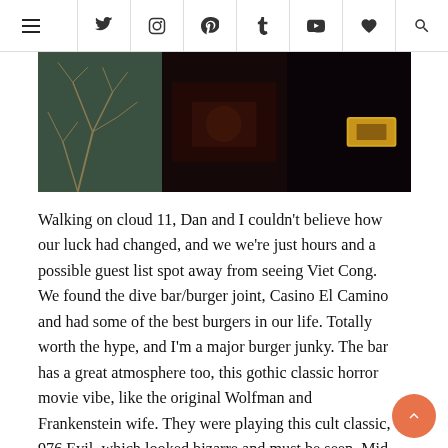Navigation bar with hamburger menu and social icons: Twitter, Instagram, Pinterest, Tumblr, YouTube, heart/favorites, Search
[Figure (photo): Three dark atmospheric photos side by side: left shows bare tree branches against dark teal background, center shows dark reddish scene, right shows dark scene with illuminated yellow object]
Walking on cloud 11, Dan and I couldn’t believe how our luck had changed, and we we’re just hours and a possible guest list spot away from seeing Viet Cong. We found the dive bar/burger joint, Casino El Camino and had some of the best burgers in our life. Totally worth the hype, and I’m a major burger junky. The bar has a great atmosphere too, this gothic classic horror movie vibe, like the original Wolfman and Frankenstein wife. They were playing this cult classic, 976 Evil, which looked bizarre and must be seen. Mid- burger bite we received confirmation for the Fader Fort list, utterly stunned and thankful, Dan and I just couldn’t stop smiling in astonishment.